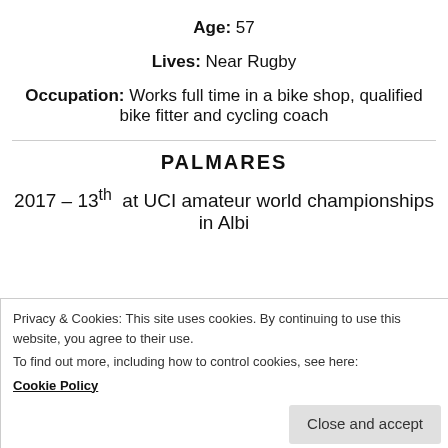Age: 57
Lives: Near Rugby
Occupation: Works full time in a bike shop, qualified bike fitter and cycling coach
PALMARES
2017 – 13th at UCI amateur world championships in Albi
Privacy & Cookies: This site uses cookies. By continuing to use this website, you agree to their use. To find out more, including how to control cookies, see here: Cookie Policy
2019 – 12th at UCI amateur world championships in